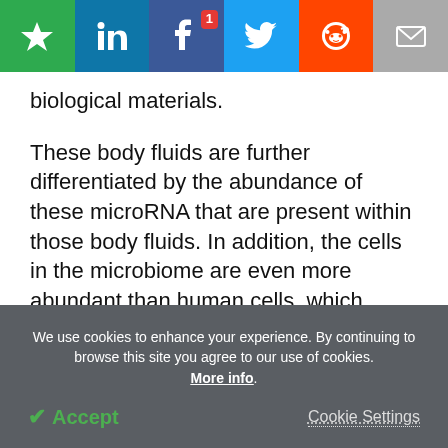[Figure (screenshot): Social media sharing bar with icons: bookmark (green), LinkedIn (blue), Facebook (dark blue) with badge '1', Twitter (light blue), Reddit (orange), Email (grey)]
biological materials.
These body fluids are further differentiated by the abundance of these microRNA that are present within those body fluids. In addition, the cells in the microbiome are even more abundant than human cells, which serves as an advantage in forensic analysis due to the trace amount of the sample present at crime scenes.
We use cookies to enhance your experience. By continuing to browse this site you agree to our use of cookies. More info.
✓ Accept
Cookie Settings